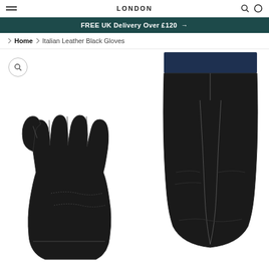LONDON
FREE UK Delivery Over £120 →
Home › Italian Leather Black Gloves
[Figure (photo): Two black Italian leather gloves shown against a white background. Left glove displayed palm-up showing finger details and palm stitching. Right glove shown back-side with stitching details and a dark navy/black cuff visible at top.]